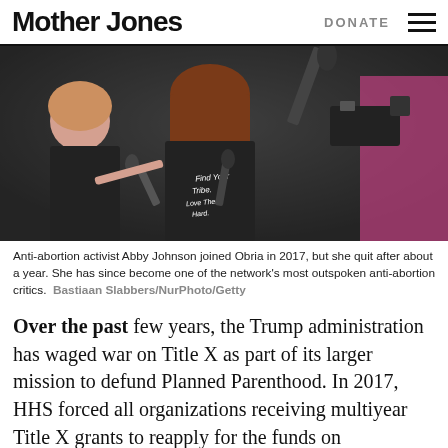Mother Jones   DONATE
[Figure (photo): Anti-abortion activist Abby Johnson speaking to press, surrounded by microphones and cameras. She wears a black t-shirt reading 'Find Your Tribe. Love Them Hard.']
Anti-abortion activist Abby Johnson joined Obria in 2017, but she quit after about a year. She has since become one of the network's most outspoken anti-abortion critics.  Bastiaan Slabbers/NurPhoto/Getty
Over the past few years, the Trump administration has waged war on Title X as part of its larger mission to defund Planned Parenthood. In 2017, HHS forced all organizations receiving multiyear Title X grants to reapply for the funds on